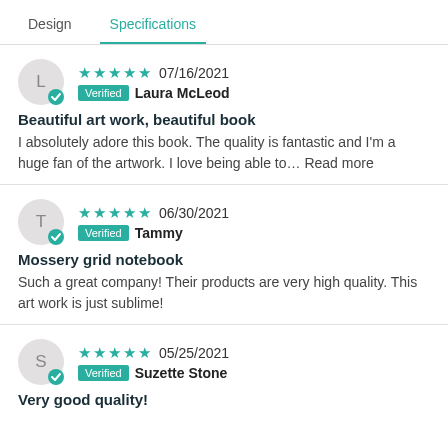Design	Specifications
★★★★★ 07/16/2021 | Verified Laura McLeod | Beautiful art work, beautiful book | I absolutely adore this book. The quality is fantastic and I'm a huge fan of the artwork. I love being able to... Read more
★★★★★ 06/30/2021 | Verified Tammy | Mossery grid notebook | Such a great company! Their products are very high quality. This art work is just sublime!
★★★★★ 05/25/2021 | Verified Suzette Stone | Very good quality!